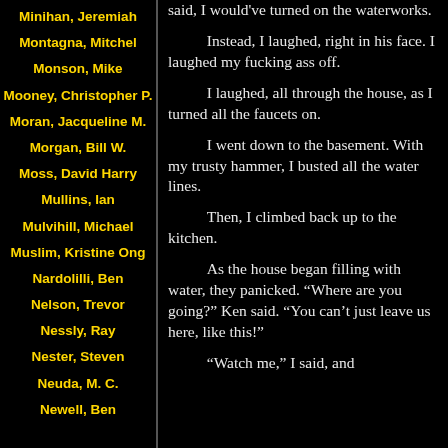Minihan, Jeremiah
Montagna, Mitchel
Monson, Mike
Mooney, Christopher P.
Moran, Jacqueline M.
Morgan, Bill W.
Moss, David Harry
Mullins, Ian
Mulvihill, Michael
Muslim, Kristine Ong
Nardolilli, Ben
Nelson, Trevor
Nessly, Ray
Nester, Steven
Neuda, M. C.
Newell, Ben
said, I would've turned on the waterworks.
Instead, I laughed, right in his face. I laughed my fucking ass off.
I laughed, all through the house, as I turned all the faucets on.
I went down to the basement. With my trusty hammer, I busted all the water lines.
Then, I climbed back up to the kitchen.
As the house began filling with water, they panicked. “Where are you going?” Ken said. “You can’t just leave us here, like this!”
“Watch me,” I said, and